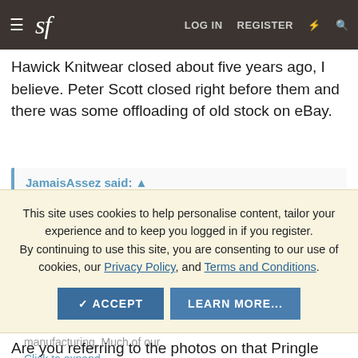sf  LOG IN  REGISTER
Hawick Knitwear closed about five years ago, I believe. Peter Scott closed right before them and there was some offloading of old stock on eBay.
JamaisAssez said: ↑
This site uses cookies to help personalise content, tailor your experience and to keep you logged in if you register. By continuing to use this site, you are consenting to our use of cookies, our Privacy Policy, and Terms and Conditions.
the Scottish Borders. This area has a rich heritage of knitting to manufacturing. Much of our
Click to expand...
Are you referring to the photos on that Pringle page? If so, those photos show William Lockie's mill.